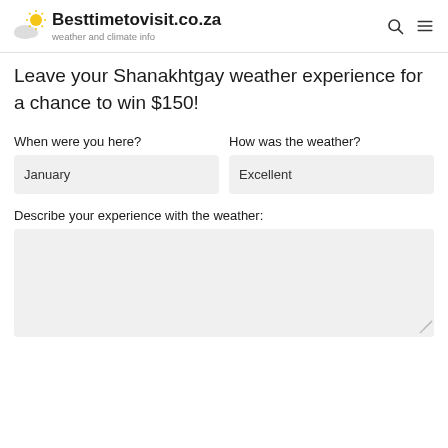Besttimetovisit.co.za — weather and climate info
Leave your Shanakhtgay weather experience for a chance to win $150!
When were you here?
January
How was the weather?
Excellent
Describe your experience with the weather: